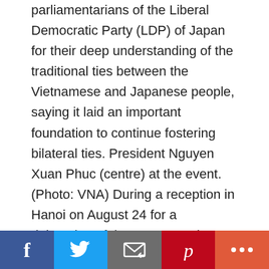parliamentarians of the Liberal Democratic Party (LDP) of Japan for their deep understanding of the traditional ties between the Vietnamese and Japanese people, saying it laid an important foundation to continue fostering bilateral ties. President Nguyen Xuan Phuc (centre) at the event. (Photo: VNA) During a reception in Hanoi on August 24 for a delegation of the LDP's Youth Division led by Suzuki Norikaru, member of the House of Representatives and Sato Kei, member of the House of Councillors, who are Acting Heads of the Youth Division, President Phuc said on the occasion of the 50th founding anniversary of diplomatic ties next year, Vietnam wished to welcome the
Social share bar: Facebook, Twitter, Email, Pinterest, More